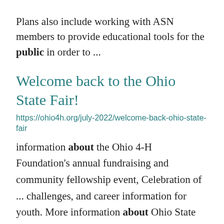Plans also include working with ASN members to provide educational tools for the public in order to ...
Welcome back to the Ohio State Fair!
https://ohio4h.org/july-2022/welcome-back-ohio-state-fair
information about the Ohio 4-H Foundation's annual fundraising and community fellowship event, Celebration of ... challenges, and career information for youth. More information about Ohio State Fair activities, including ...